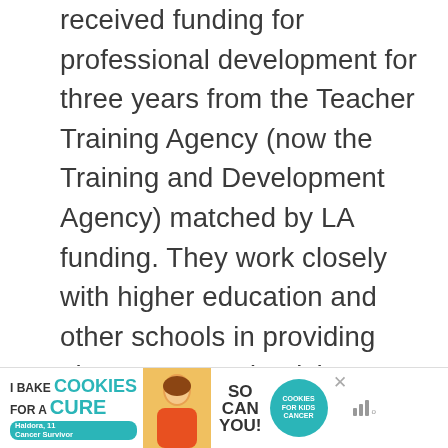received funding for professional development for three years from the Teacher Training Agency (now the Training and Development Agency) matched by LA funding. They work closely with higher education and other schools in providing placements and a rich environment for initial teacher training. They may feature planned learning opportunities, action research, professional reviews and portfolios. More than 50 schools have achieved BPDS recognition and contribute
[Figure (other): Advertisement banner: 'I Bake COOKIES For A CURE' with photo of a young girl named Haldora, 11, Cancer Survivor, and text 'So can you!' with a teal Cookies for Kids' Cancer logo circle, and a close/mute button.]